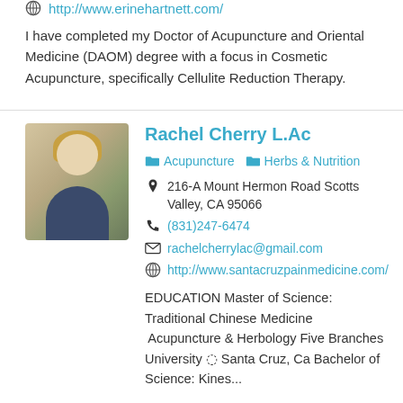http://www.erinehartnett.com/
I have completed my Doctor of Acupuncture and Oriental Medicine (DAOM) degree with a focus in Cosmetic Acupuncture, specifically Cellulite Reduction Therapy.
Rachel Cherry L.Ac
Acupuncture  Herbs & Nutrition
216-A Mount Hermon Road Scotts Valley, CA 95066
(831)247-6474
rachelcherrylac@gmail.com
http://www.santacruzpainmedicine.com/
EDUCATION Master of Science: Traditional Chinese Medicine  Acupuncture & Herbology Five Branches University ◌ Santa Cruz, Ca Bachelor of Science: Kines...